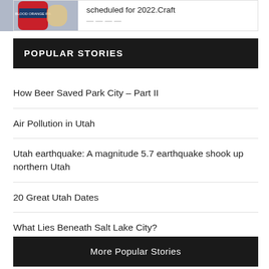[Figure (photo): Partial image of a craft beer can (Blood Orange IPA) with text 'scheduled for 2022.Craft' visible to the right]
POPULAR STORIES
How Beer Saved Park City – Part II
Air Pollution in Utah
Utah earthquake: A magnitude 5.7 earthquake shook up northern Utah
20 Great Utah Dates
What Lies Beneath Salt Lake City?
More Popular Stories